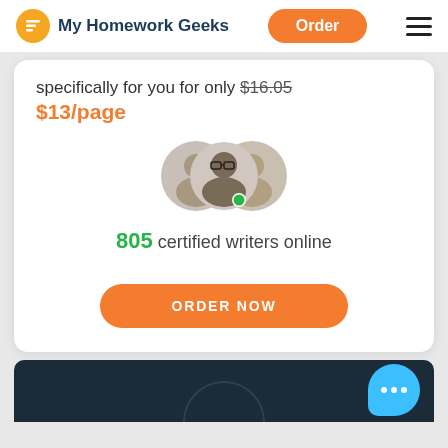My Homework Geeks | Order | menu
specifically for you for only $16.05
$13/page
[Figure (photo): Three overlapping circular avatar photos of writers, with a green online indicator dot on the center avatar]
805 certified writers online
ORDER NOW
[Figure (photo): Dark navy blue section at the bottom with a partial circular shape visible, and a blue chat bubble with three dots in the bottom right corner]